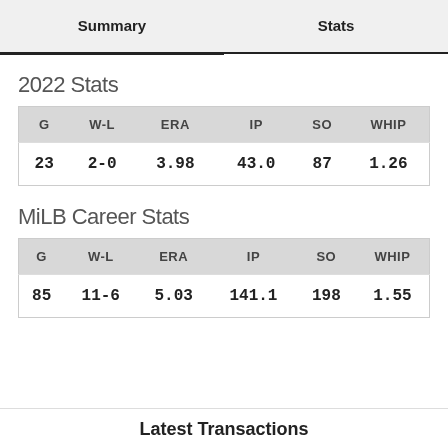Summary | Stats
2022 Stats
| G | W-L | ERA | IP | SO | WHIP |
| --- | --- | --- | --- | --- | --- |
| 23 | 2-0 | 3.98 | 43.0 | 87 | 1.26 |
MiLB Career Stats
| G | W-L | ERA | IP | SO | WHIP |
| --- | --- | --- | --- | --- | --- |
| 85 | 11-6 | 5.03 | 141.1 | 198 | 1.55 |
Latest Transactions